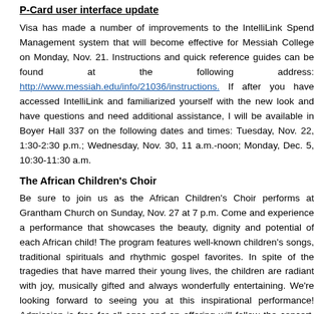P-Card user interface update
Visa has made a number of improvements to the IntelliLink Spend Management system that will become effective for Messiah College on Monday, Nov. 21. Instructions and quick reference guides can be found at the following web address: http://www.messiah.edu/info/21036/instructions. If after you have accessed IntelliLink and familiarized yourself with the new look and have questions and need additional assistance, I will be available in Boyer Hall 337 on the following dates and times: Tuesday, Nov. 22, 1:30-2:30 p.m.; Wednesday, Nov. 30, 11 a.m.- noon; Monday, Dec. 5, 10:30-11:30 a.m.
The African Children's Choir
Be sure to join us as the African Children's Choir performs at Grantham Church on Sunday, Nov. 27 at 7 p.m. Come and experience a performance that showcases the beauty, dignity and potential of each African child! The program features well-known children's songs, traditional spirituals and rhythmic gospel favorites. In spite of the tragedies that have marred their young lives, the children are radiant with joy, musically gifted and always wonderfully entertaining. We're looking forward to seeing you at this inspirational performance! Admission is free for all ages and an offering will follow the concert. The African Children's Choir will also be performing in chapel at Messiah on the Tuesday after Thanksgiving, Nov. 29. Host families are needed for them from Sunday night until Wednesday morning (Nov. 27-30). If you are interested in hosting a chaperone and between 2-3 children, contact Douglas Curry at dcurry1@messiah.edu.
Choral Arts auditions
Messiah College Choral Arts Society will present Handel's Messiah on...